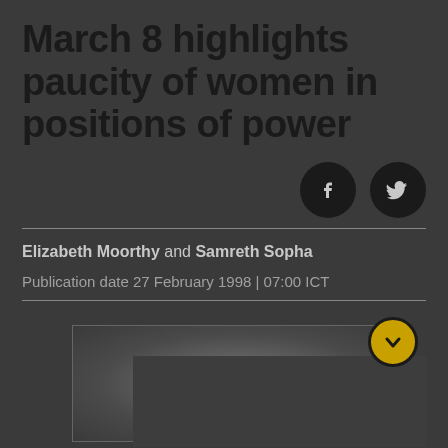March 8 highlights paucity of women in positions of power
[Figure (illustration): Social media share buttons: Facebook and Twitter icons, circular black buttons]
Elizabeth Moorthy and Samreth Sopha
Publication date 27 February 1998 | 07:00 ICT
[Figure (photo): A dark photograph with a scroll/expand button overlay featuring a downward chevron icon in a gold circle]
SEVEN female parliamentarians, one female deputy governor, no Cabinet members. Although